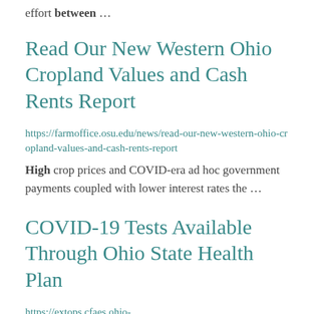effort between ...
Read Our New Western Ohio Cropland Values and Cash Rents Report
https://farmoffice.osu.edu/news/read-our-new-western-ohio-cropland-values-and-cash-rents-report
High crop prices and COVID-era ad hoc government payments coupled with lower interest rates the ...
COVID-19 Tests Available Through Ohio State Health Plan
https://extops.cfaes.ohio-